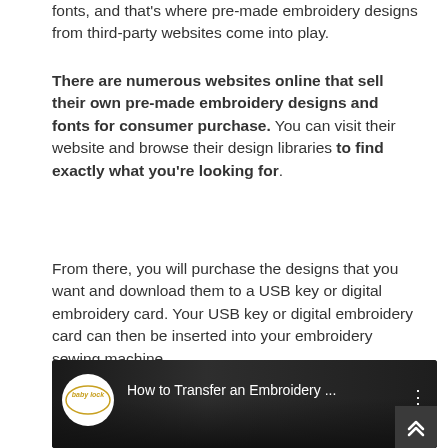fonts, and that's where pre-made embroidery designs from third-party websites come into play.
There are numerous websites online that sell their own pre-made embroidery designs and fonts for consumer purchase. You can visit their website and browse their design libraries to find exactly what you're looking for.
From there, you will purchase the designs that you want and download them to a USB key or digital embroidery card. Your USB key or digital embroidery card can then be inserted into your embroidery sewing machine.
[Figure (screenshot): YouTube video thumbnail showing a Baby Lock branded video titled 'How to Transfer an Embroidery ...' with a person visible in the background. A three-dot menu icon is visible on the right. A scroll-up button with chevron arrows appears in the bottom-right corner.]